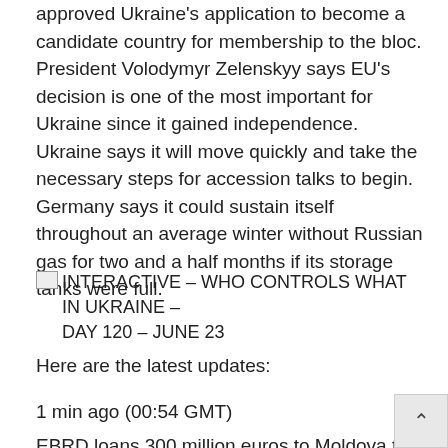approved Ukraine's application to become a candidate country for membership to the bloc. President Volodymyr Zelenskyy says EU's decision is one of the most important for Ukraine since it gained independence. Ukraine says it will move quickly and take the necessary steps for accession talks to begin. Germany says it could sustain itself throughout an average winter without Russian gas for two and a half months if its storage tanks were full.
[Figure (other): Broken image placeholder with alt text: INTERACTIVE – WHO CONTROLS WHAT IN UKRAINE – DAY 120 – JUNE 23]
Here are the latest updates:
1 min ago (00:54 GMT)
EBRD loans 300 million euros to Moldova to overcome